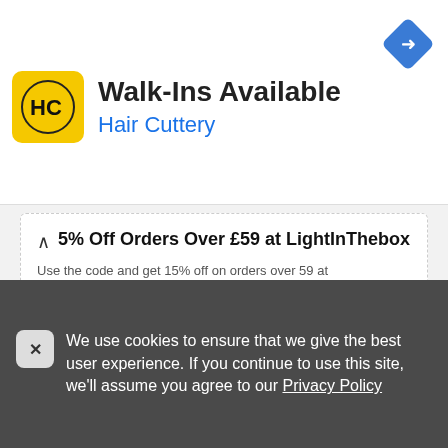[Figure (screenshot): Hair Cuttery advertisement banner with logo showing HC initials in yellow square, title 'Walk-Ins Available', subtitle 'Hair Cuttery', and blue navigation diamond icon]
5% Off Orders Over £59 at LightInThebox
Use the code and get 15% off on orders over 59 at LightInThebox
SHOW CODE  T10
Share   3 times used
We use cookies to ensure that we give the best user experience. If you continue to use this site, we'll assume you agree to our Privacy Policy